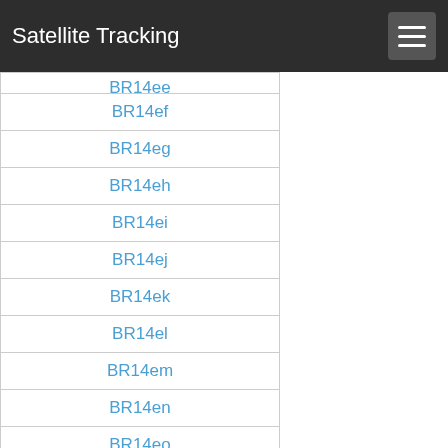Satellite Tracking
BR14ee (partial)
BR14ef
BR14eg
BR14eh
BR14ei
BR14ej
BR14ek
BR14el
BR14em
BR14en
BR14eo
BR14ep
BR14eq
BR14er
BR14es
BR14et
BR14eu
BR14ev